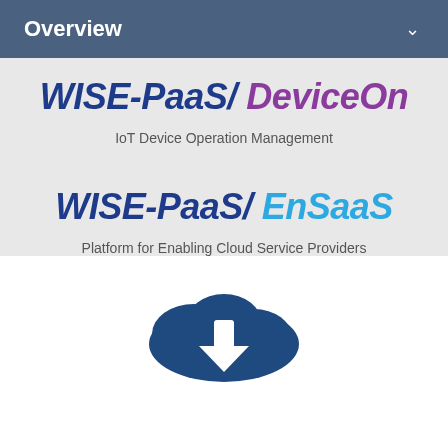Overview
[Figure (logo): WISE-PaaS/DeviceOn product logo in dark blue and purple italic bold text]
IoT Device Operation Management
[Figure (logo): WISE-PaaS/EnSaaS product logo in dark blue and light blue italic bold text]
Platform for Enabling Cloud Service Providers
[Figure (illustration): Cloud with download arrow icon, partially visible at bottom of page]